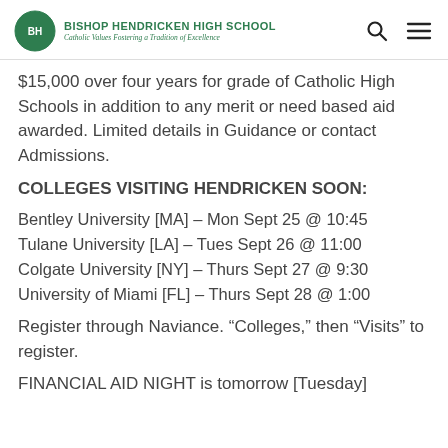BISHOP HENDRICKEN HIGH SCHOOL — Catholic Values Fostering a Tradition of Excellence
$15,000 over four years for grade of Catholic High Schools in addition to any merit or need based aid awarded. Limited details in Guidance or contact Admissions.
COLLEGES VISITING HENDRICKEN SOON:
Bentley University [MA] – Mon Sept 25 @ 10:45
Tulane University [LA] – Tues Sept 26 @ 11:00
Colgate University [NY] – Thurs Sept 27 @ 9:30
University of Miami [FL] – Thurs Sept 28 @ 1:00
Register through Naviance. “Colleges,” then “Visits” to register.
FINANCIAL AID NIGHT is tomorrow [Tuesday]